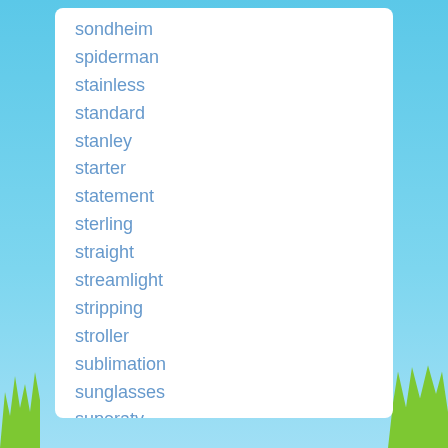sondheim
spiderman
stainless
standard
stanley
starter
statement
sterling
straight
streamlight
stripping
stroller
sublimation
sunglasses
superatv
tablesgames
tactair vacuum pump
tankless